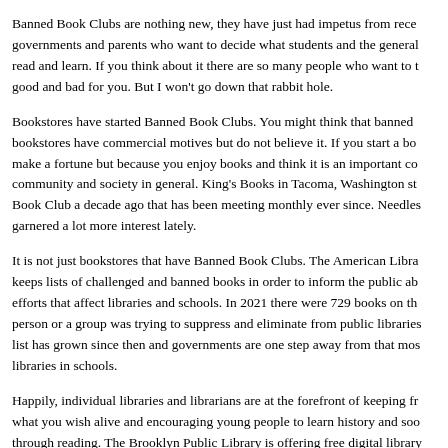Banned Book Clubs are nothing new, they have just had impetus from rece governments and parents who want to decide what students and the general read and learn. If you think about it there are so many people who want to t good and bad for you. But I won't go down that rabbit hole.
Bookstores have started Banned Book Clubs. You might think that banned bookstores have commercial motives but do not believe it. If you start a bo make a fortune but because you enjoy books and think it is an important co community and society in general. King's Books in Tacoma, Washington st Book Club a decade ago that has been meeting monthly ever since. Needles garnered a lot more interest lately.
It is not just bookstores that have Banned Book Clubs. The American Libra keeps lists of challenged and banned books in order to inform the public ab efforts that affect libraries and schools. In 2021 there were 729 books on th person or a group was trying to suppress and eliminate from public libraries list has grown since then and governments are one step away from that mos libraries in schools.
Happily, individual libraries and librarians are at the forefront of keeping fr what you wish alive and encouraging young people to learn history and soo through reading. The Brooklyn Public Library is offering free digital library people ages 13 to 21 across in the U.S.